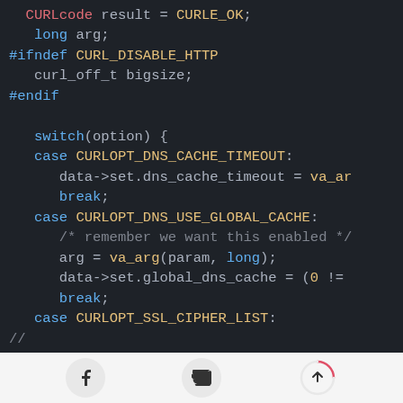[Figure (screenshot): Code editor screenshot showing C source code with syntax highlighting on dark background. Code includes CURLcode result, long arg, preprocessor directives #ifndef CURL_DISABLE_HTTP / #endif, a switch statement on option with cases for CURLOPT_DNS_CACHE_TIMEOUT, CURLOPT_DNS_USE_GLOBAL_CACHE, and CURLOPT_SSL_CIPHER_LIST.]
Social share toolbar with Facebook, Twitter, and scroll-to-top buttons